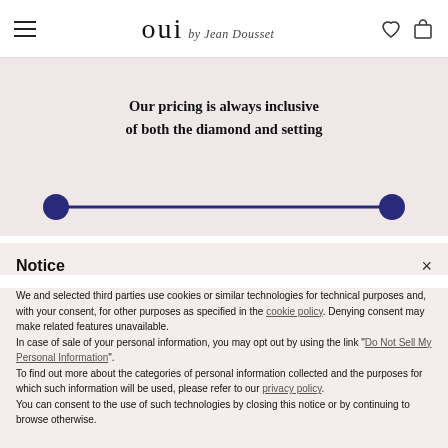OUI by Jean Dousset — navigation header with hamburger menu, logo, heart icon, and bag icon
Our pricing is always inclusive of both the diamond and setting
[Figure (other): A horizontal range slider with two dark navy/blue circular handles connected by a dark navy line on a pink/blush background]
Notice
We and selected third parties use cookies or similar technologies for technical purposes and, with your consent, for other purposes as specified in the cookie policy. Denying consent may make related features unavailable.
In case of sale of your personal information, you may opt out by using the link "Do Not Sell My Personal Information".
To find out more about the categories of personal information collected and the purposes for which such information will be used, please refer to our privacy policy.
You can consent to the use of such technologies by closing this notice or by continuing to browse otherwise.